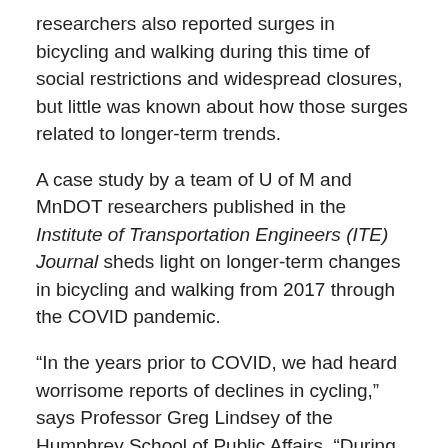researchers also reported surges in bicycling and walking during this time of social restrictions and widespread closures, but little was known about how those surges related to longer-term trends.
A case study by a team of U of M and MnDOT researchers published in the Institute of Transportation Engineers (ITE) Journal sheds light on longer-term changes in bicycling and walking from 2017 through the COVID pandemic.
“In the years prior to COVID, we had heard worrisome reports of declines in cycling,” says Professor Greg Lindsey of the Humphrey School of Public Affairs. “During COVID, we were hearing about increases in bicycling and pedestrian trail use, so we wanted to get the bigger picture.”